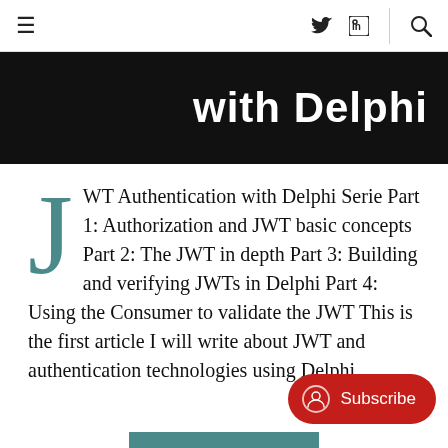≡  🐦  in  🔍
with Delphi
JWT Authentication with Delphi Serie Part 1: Authorization and JWT basic concepts Part 2: The JWT in depth Part 3: Building and verifying JWTs in Delphi Part 4: Using the Consumer to validate the JWT This is the first article I will write about JWT and authentication technologies using Delphi,